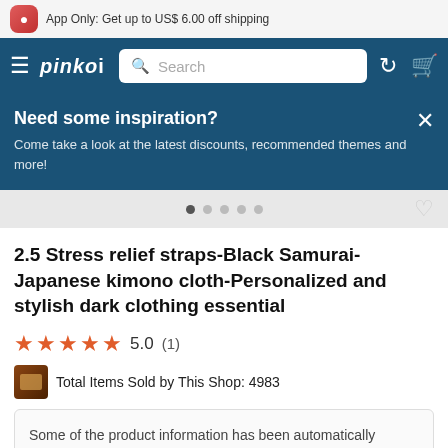App Only: Get up to US$ 6.00 off shipping
[Figure (screenshot): Pinkoi app navigation bar with hamburger menu, Pinkoi logo, search bar, history icon, and cart icon]
Need some inspiration?
Come take a look at the latest discounts, recommended themes and more!
2.5 Stress relief straps-Black Samurai-Japanese kimono cloth-Personalized and stylish dark clothing essential
5.0 (1)
Total Items Sold by This Shop: 4983
Some of the product information has been automatically translated by Google and may not be completely accurate.
Show original (Chinese-Traditional)